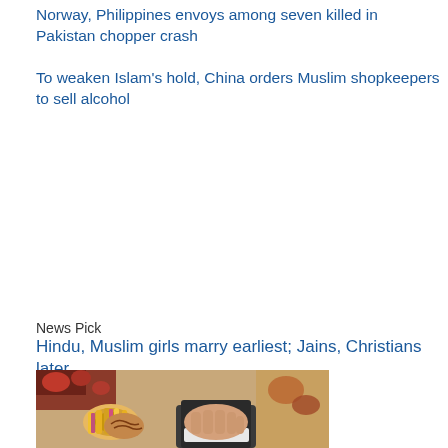Norway, Philippines envoys among seven killed in Pakistan chopper crash
To weaken Islam's hold, China orders Muslim shopkeepers to sell alcohol
News Pick
Hindu, Muslim girls marry earliest; Jains, Christians later
[Figure (photo): Close-up photo of a wedding scene showing a woman's hands adorned with bangles and henna/mehndi, with a man's hand in a suit jacket sleeve holding her hands. Flower decorations visible in background.]